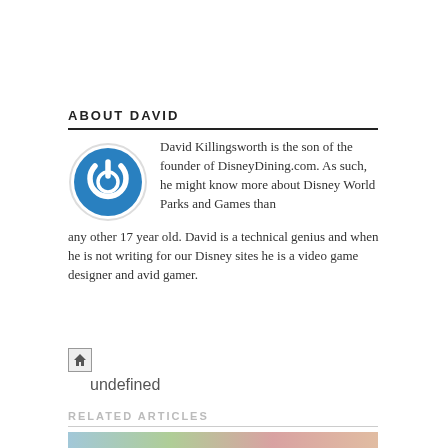ABOUT DAVID
[Figure (logo): Blue circular power button icon with white background and light border]
David Killingsworth is the son of the founder of DisneyDining.com. As such, he might know more about Disney World Parks and Games than any other 17 year old. David is a technical genius and when he is not writing for our Disney sites he is a video game designer and avid gamer.
[Figure (illustration): Home/website icon in a small grey square button]
undefined
RELATED ARTICLES
[Figure (photo): Row of related article thumbnail images partially visible at bottom]